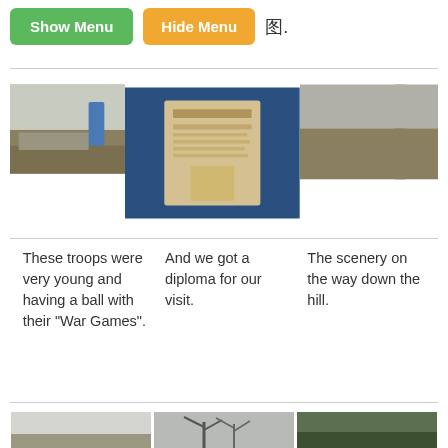[Figure (screenshot): Show Menu button (green) and Hide Menu button (orange)]
[Figure (photo): Three thumbnail photos: outdoor scene with people and blue structure, diploma document, scenery with post]
These troops were very young and having a ball with their "War Games".
And we got a diploma for our visit.
The scenery on the way down the hill.
[Figure (photo): Three thumbnail photos at bottom: landscape, bare trees, wooded area]